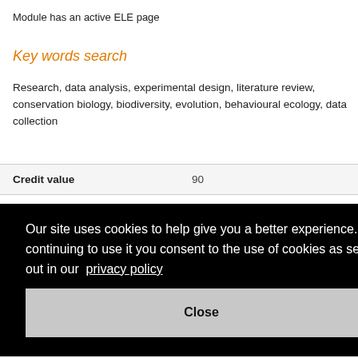Module has an active ELE page
Key words search
Research, data analysis, experimental design, literature review, conservation biology, biodiversity, evolution, behavioural ecology, data collection
| Credit value | 90 |
| --- | --- |
Our site uses cookies to help give you a better experience. By continuing to use it you consent to the use of cookies as set out in our privacy policy
Close
learning?